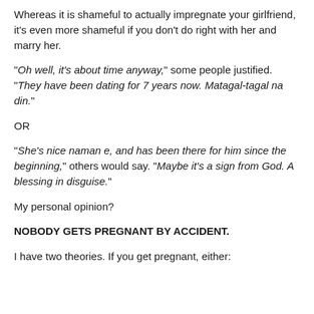Whereas it is shameful to actually impregnate your girlfriend, it's even more shameful if you don't do right with her and marry her.
“Oh well, it’s about time anyway,” some people justified. “They have been dating for 7 years now. Matagal-tagal na din.”
OR
“She’s nice naman e, and has been there for him since the beginning,” others would say. “Maybe it’s a sign from God. A blessing in disguise.”
My personal opinion?
NOBODY GETS PREGNANT BY ACCIDENT.
I have two theories. If you get pregnant, either: